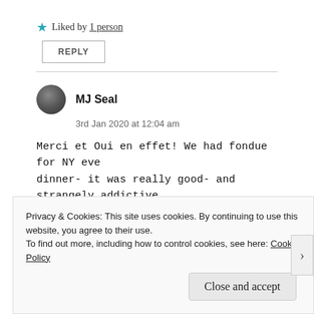★ Liked by 1 person
REPLY
MJ Seal
3rd Jan 2020 at 12:04 am
Merci et Oui en effet! We had fondue for NY eve dinner- it was really good- and strangely addictive 😊 And u 2!
Privacy & Cookies: This site uses cookies. By continuing to use this website, you agree to their use. To find out more, including how to control cookies, see here: Cookie Policy
Close and accept